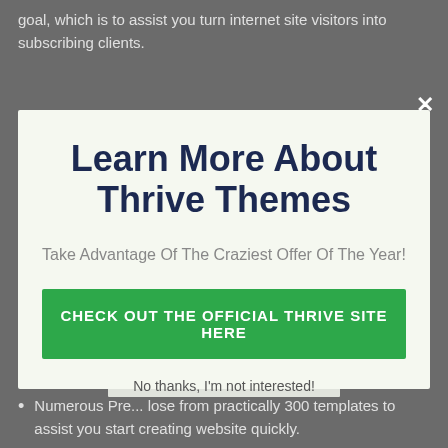goal, which is to assist you turn internet site visitors into subscribing clients.
[Figure (screenshot): Modal popup overlay with light green background. Contains bold dark navy heading 'Learn More About Thrive Themes', subtitle 'Take Advantage Of The Craziest Offer Of The Year!', a green call-to-action button 'CHECK OUT THE OFFICIAL THRIVE SITE HERE', and a dismiss link 'No thanks, I'm not interested!'. A white X close button appears in the top right corner of the overlay.]
Numerous Pre... lose from practically 300 templates to assist you start creating website quickly.